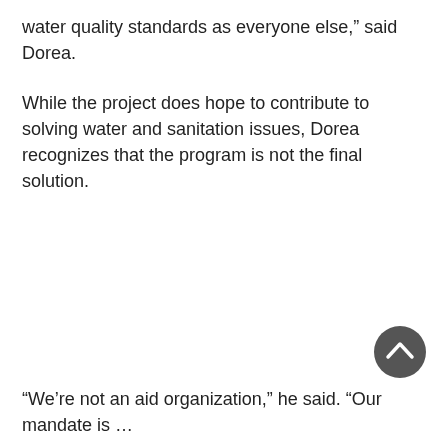water quality standards as everyone else,” said Dorea.
While the project does hope to contribute to solving water and sanitation issues, Dorea recognizes that the program is not the final solution.
[Figure (other): A dark grey circular button with an upward-pointing chevron arrow icon, used as a scroll-to-top button.]
“We’re not an aid organization,” he said. “Our mandate is …